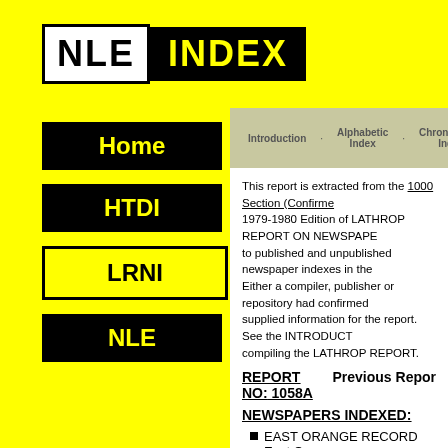[Figure (logo): NLE INDEX logo with NLE in outlined box and INDEX in black background]
Home | Introduction · Alphabetic Index · Chronological Index
This report is extracted from the 1000 Section (Confirmed) of the 1979-1980 Edition of LATHROP REPORT ON NEWSPAPER INDEXES, a guide to published and unpublished newspaper indexes in the United States. Either a compiler, publisher or repository had confirmed existence or supplied information for the report. See the INTRODUCTION for key to compiling the LATHROP REPORT.
REPORT NO: 1058A
Previous Report
NEWSPAPERS INDEXED:
EAST ORANGE RECORD East Orange
LOCATION or PUBLISHER:
EAST ORANGE PUBLIC Reference Dept 21 S. Arlington Ave East Orange NJ 07018 Telephone (201) 000-00